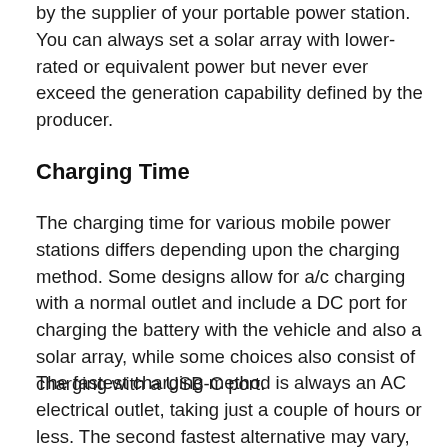by the supplier of your portable power station. You can always set a solar array with lower-rated or equivalent power but never ever exceed the generation capability defined by the producer.
Charging Time
The charging time for various mobile power stations differs depending upon the charging method. Some designs allow for a/c charging with a normal outlet and include a DC port for charging the battery with the vehicle and also a solar array, while some choices also consist of charging with a USB-C port.
The fastest charging method is always an AC electrical outlet, taking just a couple of hours or less. The second fastest alternative may vary,